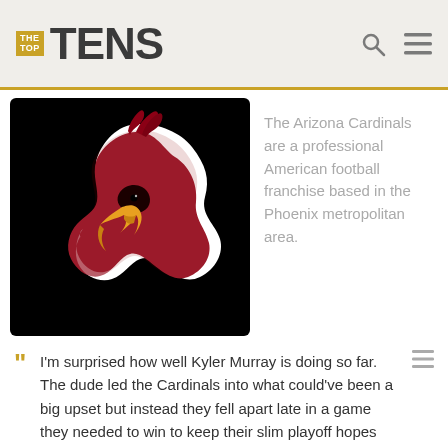THE TOP TENS
[Figure (logo): Arizona Cardinals NFL team logo — cardinal bird head in dark red/crimson with white outline on black background]
The Arizona Cardinals are a professional American football franchise based in the Phoenix metropolitan area.
I'm surprised how well Kyler Murray is doing so far. The dude led the Cardinals into what could've been a big upset but instead they fell apart late in a game they needed to win to keep their slim playoff hopes alive. This wasn't Kylers fault in fact he was the one keeping them in the game to begin with - Randomator